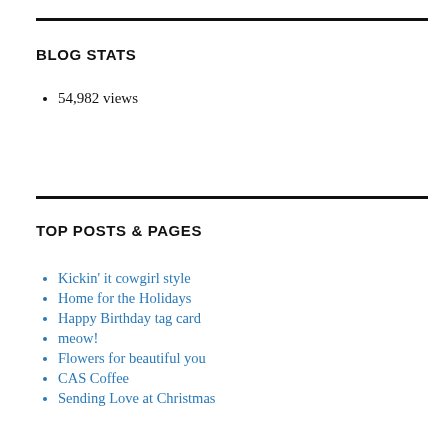BLOG STATS
54,982 views
TOP POSTS & PAGES
Kickin' it cowgirl style
Home for the Holidays
Happy Birthday tag card
meow!
Flowers for beautiful you
CAS Coffee
Sending Love at Christmas